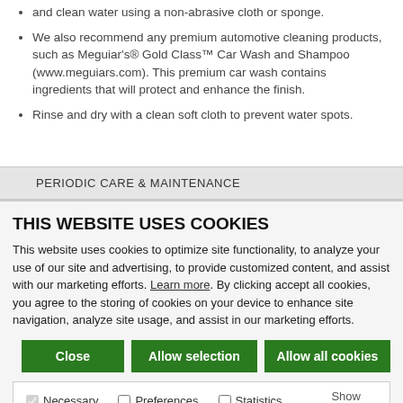and clean water using a non-abrasive cloth or sponge.
We also recommend any premium automotive cleaning products, such as Meguiar's® Gold Class™ Car Wash and Shampoo (www.meguiars.com). This premium car wash contains ingredients that will protect and enhance the finish.
Rinse and dry with a clean soft cloth to prevent water spots.
PERIODIC CARE & MAINTENANCE
THIS WEBSITE USES COOKIES
This website uses cookies to optimize site functionality, to analyze your use of our site and advertising, to provide customized content, and assist with our marketing efforts. Learn more. By clicking accept all cookies, you agree to the storing of cookies on your device to enhance site navigation, analyze site usage, and assist in our marketing efforts.